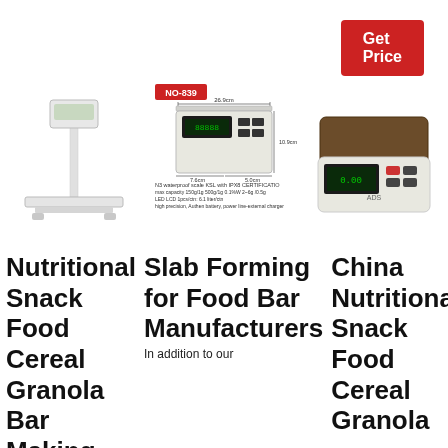Get Price
[Figure (photo): White platform bench scale with digital display on a pole]
[Figure (photo): Digital scale NO-839 with product dimensions and specifications shown]
[Figure (photo): Compact digital weighing scale with brown platform and LCD display]
Nutritional Snack Food Cereal Granola Bar Making
Slab Forming for Food Bar Manufacturers
In addition to our
China Nutritional Snack Food Cereal Granola